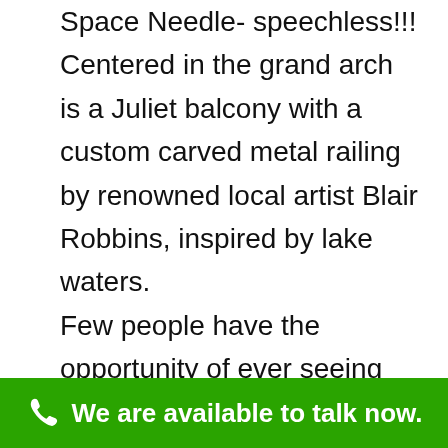Space Needle- speechless!!! Centered in the grand arch is a Juliet balcony with a custom carved metal railing by renowned local artist Blair Robbins, inspired by lake waters.

Few people have the opportunity of ever seeing this view – a half-mile of open lake, the shipyard, the city, the Space Needle!! There is a deck on the west side of the master bedroom, which is perfect for watching the July
We are available to talk now.